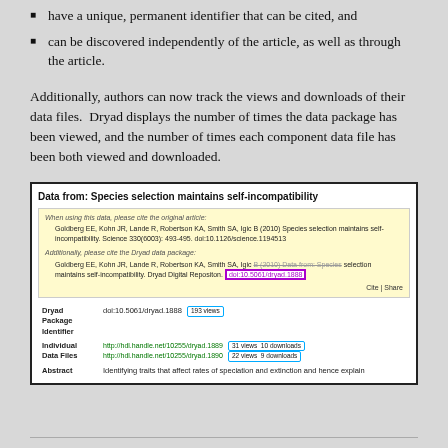have a unique, permanent identifier that can be cited, and
can be discovered independently of the article, as well as through the article.
Additionally, authors can now track the views and downloads of their data files.  Dryad displays the number of times the data package has been viewed, and the number of times each component data file has been both viewed and downloaded.
[Figure (screenshot): Screenshot of a Dryad data repository page for 'Data from: Species selection maintains self-incompatibility' showing citation information, DOI (doi:10.5061/dryad.1888), view counts (193 views for package, 31 views 10 downloads and 22 views 9 downloads for individual data files), highlighted with colored boxes (purple around DOI, cyan around view/download counts).]